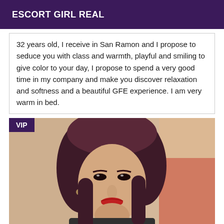ESCORT GIRL REAL
32 years old, I receive in San Ramon and I propose to seduce you with class and warmth, playful and smiling to give color to your day, I propose to spend a very good time in my company and make you discover relaxation and softness and a beautiful GFE experience. I am very warm in bed.
[Figure (photo): Portrait photo of a woman with dark shoulder-length hair, with a VIP badge overlay in the top-left corner]